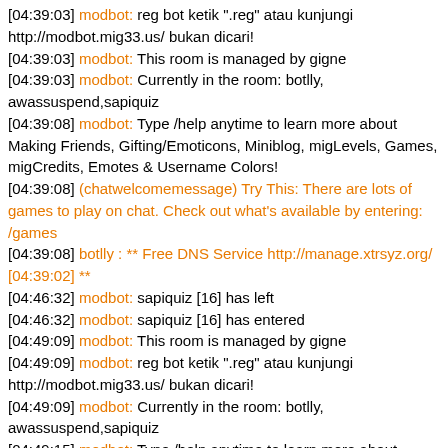[04:39:03] modbot: reg bot ketik ".reg" atau kunjungi http://modbot.mig33.us/ bukan dicari!
[04:39:03] modbot: This room is managed by gigne
[04:39:03] modbot: Currently in the room: botlly, awassuspend,sapiquiz
[04:39:08] modbot: Type /help anytime to learn more about Making Friends, Gifting/Emoticons, Miniblog, migLevels, Games, migCredits, Emotes & Username Colors!
[04:39:08] (chatwelcomemessage) Try This: There are lots of games to play on chat. Check out what's available by entering: /games
[04:39:08] botlly : ** Free DNS Service http://manage.xtrsyz.org/ [04:39:02] **
[04:46:32] modbot: sapiquiz [16] has left
[04:46:32] modbot: sapiquiz [16] has entered
[04:49:09] modbot: This room is managed by gigne
[04:49:09] modbot: reg bot ketik ".reg" atau kunjungi http://modbot.mig33.us/ bukan dicari!
[04:49:09] modbot: Currently in the room: botlly, awassuspend,sapiquiz
[04:49:15] modbot: Type /help anytime to learn more about Making Friends, Gifting/Emoticons, Miniblog, migLevels, Games, migCredits, Emotes & Username Colors!